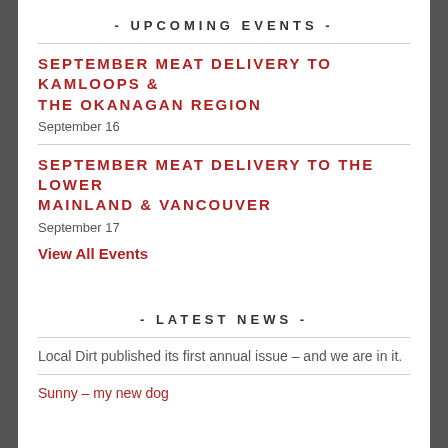- UPCOMING EVENTS -
SEPTEMBER MEAT DELIVERY TO KAMLOOPS & THE OKANAGAN REGION
September 16
SEPTEMBER MEAT DELIVERY TO THE LOWER MAINLAND & VANCOUVER
September 17
View All Events
- LATEST NEWS -
Local Dirt published its first annual issue – and we are in it.
Sunny – my new dog